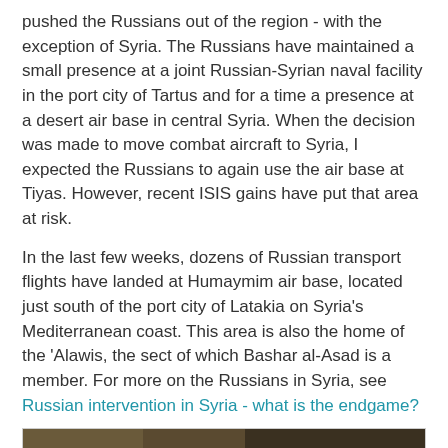pushed the Russians out of the region - with the exception of Syria. The Russians have maintained a small presence at a joint Russian-Syrian naval facility in the port city of Tartus and for a time a presence at a desert air base in central Syria. When the decision was made to move combat aircraft to Syria, I expected the Russians to again use the air base at Tiyas. However, recent ISIS gains have put that area at risk.
In the last few weeks, dozens of Russian transport flights have landed at Humaymim air base, located just south of the port city of Latakia on Syria's Mediterranean coast. This area is also the home of the 'Alawis, the sect of which Bashar al-Asad is a member. For more on the Russians in Syria, see Russian intervention in Syria - what is the endgame?
[Figure (photo): Aerial satellite photograph of Humaymim air base showing Russian military aircraft (Su-30, Su-24, Su-25, Su-24) parked on the tarmac in rows, with labeled white bars indicating aircraft types.]